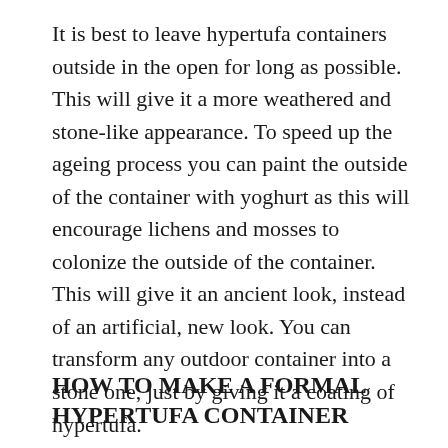It is best to leave hypertufa containers outside in the open for long as possible. This will give it a more weathered and stone-like appearance. To speed up the ageing process you can paint the outside of the container with yoghurt as this will encourage lichens and mosses to colonize the outside of the container. This will give it an ancient look, instead of an artificial, new look. You can transform any outdoor container into a stone one, just by giving it a coating of hypertufa.
HOW TO MAKE A FORMAL HYPERTUFA CONTAINER